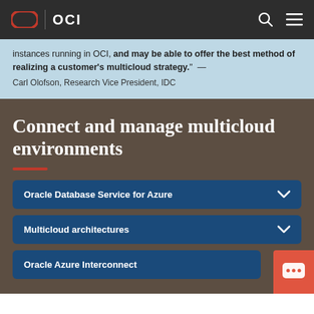OCI
instances running in OCI, and may be able to offer the best method of realizing a customer's multicloud strategy." — Carl Olofson, Research Vice President, IDC
Connect and manage multicloud environments
Oracle Database Service for Azure
Multicloud architectures
Oracle Azure Interconnect